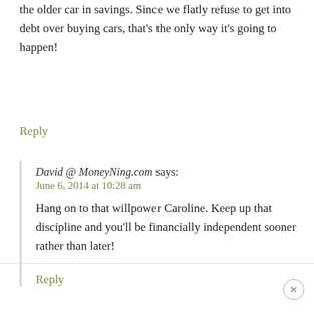the older car in savings. Since we flatly refuse to get into debt over buying cars, that’s the only way it’s going to happen!
Reply
David @ MoneyNing.com says:
June 6, 2014 at 10:28 am
Hang on to that willpower Caroline. Keep up that discipline and you’ll be financially independent sooner rather than later!
Reply